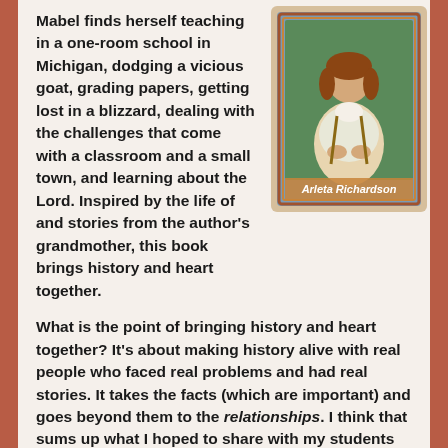Mabel finds herself teaching in a one-room school in Michigan, dodging a vicious goat, grading papers, getting lost in a blizzard, dealing with the challenges that come with a classroom and a small town, and learning about the Lord. Inspired by the life of and stories from the author's grandmother, this book brings history and heart together.
[Figure (illustration): Book cover illustration showing a young woman in period dress, with 'Arleta Richardson' text visible, framed decoratively]
What is the point of bringing history and heart together? It's about making history alive with real people who faced real problems and had real stories. It takes the facts (which are important) and goes beyond them to the relationships. I think that sums up what I hoped to share with my students in my one-room school. With the groups, I had only fifteen minutes (or less) to do it. Talk about a challenge! My